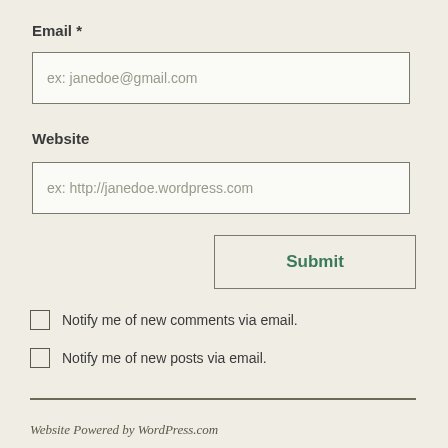Email *
ex: janedoe@gmail.com
Website
ex: http://janedoe.wordpress.com
Submit
Notify me of new comments via email.
Notify me of new posts via email.
Website Powered by WordPress.com